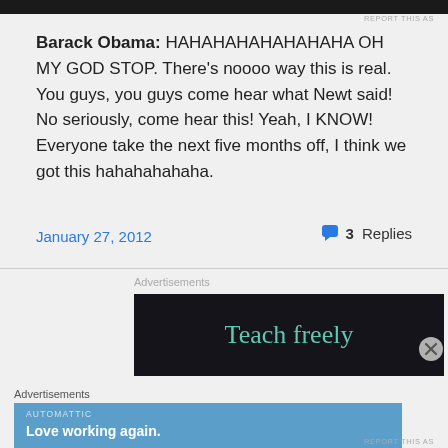[Figure (screenshot): Dark top image bar (partial screenshot of previous content)]
REPORT THIS AS
Barack Obama: HAHAHAHAHAHAHAHA OH MY GOD STOP. There's noooo way this is real. You guys, you guys come hear what Newt said! No seriously, come hear this! Yeah, I KNOW! Everyone take the next five months off, I think we got this hahahahahaha.
January 27, 2012
3 Replies
Advertisements
[Figure (screenshot): Dark advertisement banner with teal text reading 'Teach freely']
Advertisements
[Figure (screenshot): Blue advertisement banner with Automattic logo and text 'Love working again.']
REPORT THIS AS